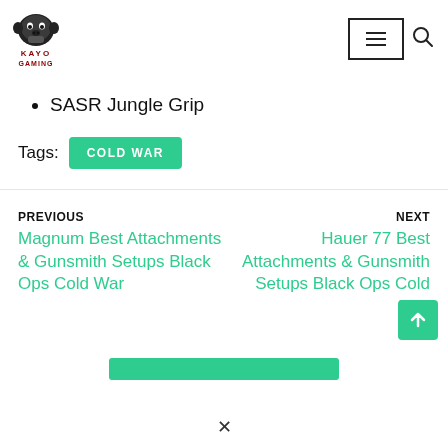Kayo Gaming logo and navigation
SASR Jungle Grip
Tags: COLD WAR
PREVIOUS
Magnum Best Attachments & Gunsmith Setups Black Ops Cold War
NEXT
Hauer 77 Best Attachments & Gunsmith Setups Black Ops Cold War